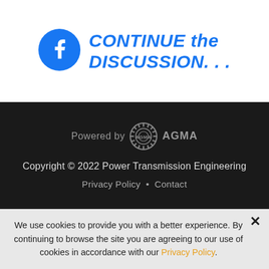[Figure (logo): Facebook logo circle with 'f' in white, followed by bold italic blue text 'CONTINUE the DISCUSSION...']
[Figure (logo): AGMA gear logo with text 'Powered by AGMA' in grey on dark background]
Copyright © 2022 Power Transmission Engineering
Privacy Policy • Contact
We use cookies to provide you with a better experience. By continuing to browse the site you are agreeing to our use of cookies in accordance with our Privacy Policy.